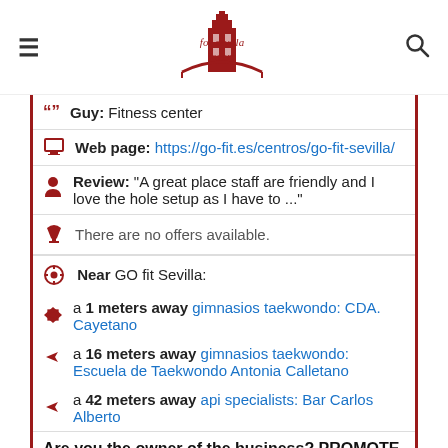for sevilla lovers (logo)
Guy: Fitness center
Web page: https://go-fit.es/centros/go-fit-sevilla/
Review: "A great place staff are friendly and I love the hole setup as I have to ..."
There are no offers available.
Near GO fit Sevilla:
a 1 meters away gimnasios taekwondo: CDA. Cayetano
a 16 meters away gimnasios taekwondo: Escuela de Taekwondo Antonia Calletano
a 42 meters away api specialists: Bar Carlos Alberto
Are you the owner of the business? PROMOTE IT!